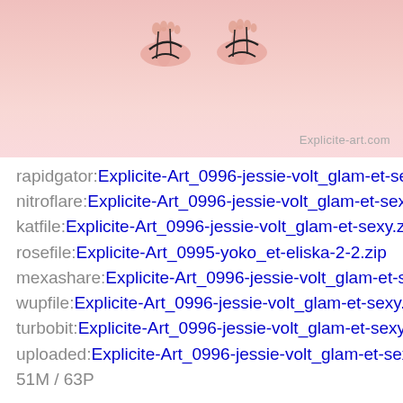[Figure (photo): Cropped photo showing feet/legs with dark sandal straps on a pink/rose background, with watermark 'Explicite-art.com' in bottom right corner]
rapidgator:Explicite-Art_0996-jessie-volt_glam-et-sexy.zip
nitroflare:Explicite-Art_0996-jessie-volt_glam-et-sexy.zip
katfile:Explicite-Art_0996-jessie-volt_glam-et-sexy.zip
rosefile:Explicite-Art_0995-yoko_et-eliska-2-2.zip
mexashare:Explicite-Art_0996-jessie-volt_glam-et-sexy.zip
wupfile:Explicite-Art_0996-jessie-volt_glam-et-sexy.zip
turbobit:Explicite-Art_0996-jessie-volt_glam-et-sexy.zip
uploaded:Explicite-Art_0996-jessie-volt_glam-et-sexy.zip
51M / 63P